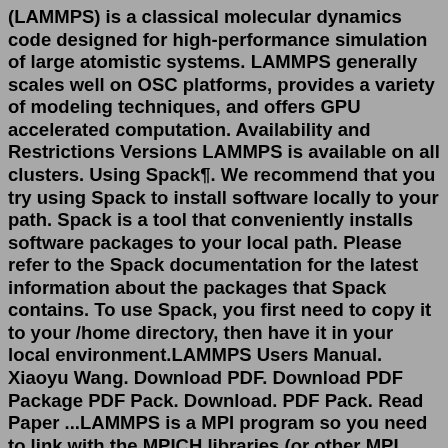(LAMMPS) is a classical molecular dynamics code designed for high-performance simulation of large atomistic systems. LAMMPS generally scales well on OSC platforms, provides a variety of modeling techniques, and offers GPU accelerated computation. Availability and Restrictions Versions LAMMPS is available on all clusters. Using Spack¶. We recommend that you try using Spack to install software locally to your path. Spack is a tool that conveniently installs software packages to your local path. Please refer to the Spack documentation for the latest information about the packages that Spack contains. To use Spack, you first need to copy it to your /home directory, then have it in your local environment.LAMMPS Users Manual. Xiaoyu Wang. Download PDF. Download PDF Package PDF Pack. Download. PDF Pack. Read Paper ...LAMMPS is a MPI program so you need to link with the MPICH libraries (or other MPI implementation). For the second error, add the pthreads library "-lpthreads" to your USRLIB variable. Mat Make a separate build